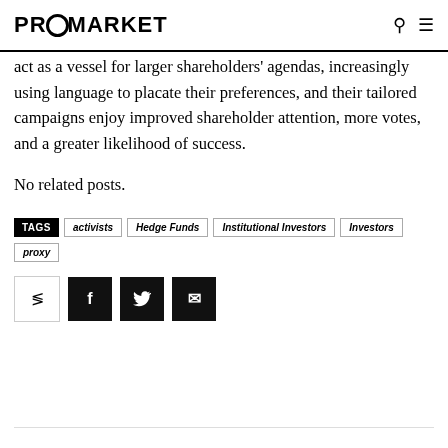PROMARKET
act as a vessel for larger shareholders' agendas, increasingly using language to placate their preferences, and their tailored campaigns enjoy improved shareholder attention, more votes, and a greater likelihood of success.
No related posts.
TAGS  activists  Hedge Funds  Institutional Investors  Investors  proxy